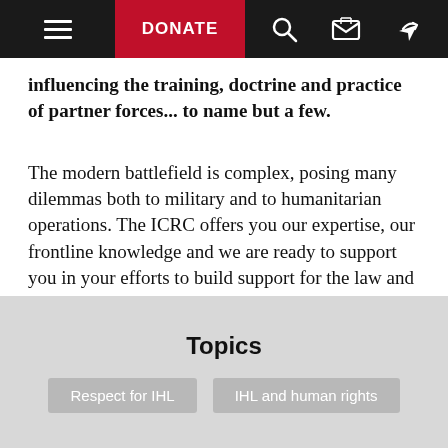DONATE
influencing the training, doctrine and practice of partner forces... to name but a few.
The modern battlefield is complex, posing many dilemmas both to military and to humanitarian operations. The ICRC offers you our expertise, our frontline knowledge and we are ready to support you in your efforts to build support for the law and to protect humanity.
Topics
Respect for IHL
IHL and human rights